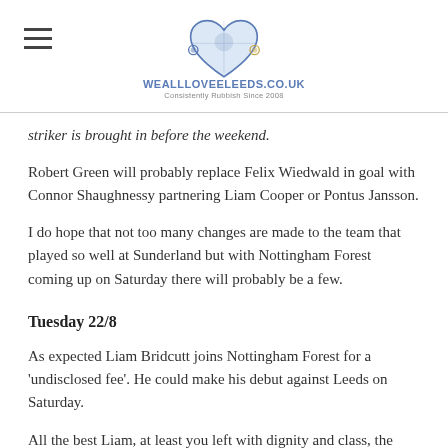WEALLLOVEELEEDS.CO.UK
striker is brought in before the weekend.
Robert Green will probably replace Felix Wiedwald in goal with Connor Shaughnessy partnering Liam Cooper or Pontus Jansson.
I do hope that not too many changes are made to the team that played so well at Sunderland but with Nottingham Forest coming up on Saturday there will probably be a few.
Tuesday 22/8
As expected Liam Bridcutt joins Nottingham Forest for a 'undisclosed fee'. He could make his debut against Leeds on Saturday.
All the best Liam, at least you left with dignity and class, the club commented: Everyone at Leeds United would like to thank Liam